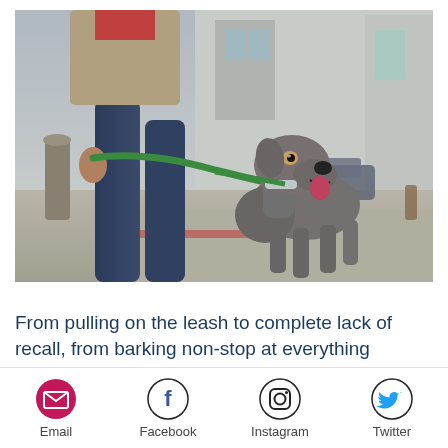[Figure (photo): A gray/blue Weimaraner dog on a green leash standing on a city sidewalk, looking up alertly. A person in jeans and a tan jacket holds the leash. Urban street scene in the background.]
From pulling on the leash to complete lack of recall, from barking non-stop at everything that passes the home to
[Figure (infographic): Social share bar with Email, Facebook, Instagram, and Twitter icons and labels.]